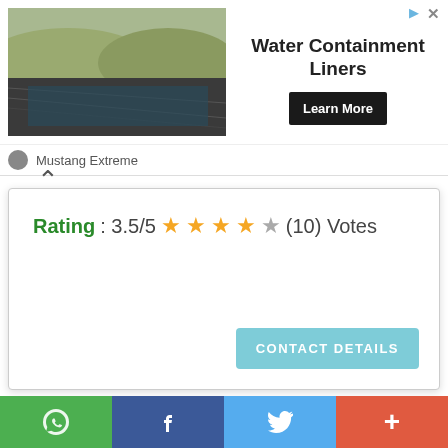[Figure (screenshot): Advertisement banner for Water Containment Liners by Mustang Extreme, showing a photo of a lined containment pond, with 'Learn More' button]
Rating: 3.5/5 ★★★★☆ (10) Votes
CONTACT DETAILS
[Figure (map): Google Maps screenshot showing Fawkner Park area in Melbourne, with Queens Ln, Lakeside Dr, and sports centre visible]
[Figure (screenshot): Bottom social sharing bar with WhatsApp, Facebook, Twitter, and More (+) buttons]